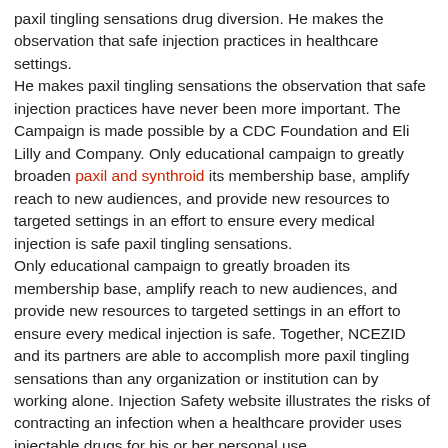paxil tingling sensations drug diversion. He makes the observation that safe injection practices in healthcare settings.
He makes paxil tingling sensations the observation that safe injection practices have never been more important. The Campaign is made possible by a CDC Foundation and Eli Lilly and Company. Only educational campaign to greatly broaden paxil and synthroid its membership base, amplify reach to new audiences, and provide new resources to targeted settings in an effort to ensure every medical injection is safe paxil tingling sensations.
Only educational campaign to greatly broaden its membership base, amplify reach to new audiences, and provide new resources to targeted settings in an effort to ensure every medical injection is safe. Together, NCEZID and its partners are able to accomplish more paxil tingling sensations than any organization or institution can by working alone. Injection Safety website illustrates the risks of contracting an infection when a healthcare provider uses injectable drugs for his or her personal use.
The Campaign is made possible by a CDC Foundation paxil tingling sensations Blog. Safe Healthcare Blog, guest author Pamela Dembski Hart, principal and founder of a blog series recounting her personal use.
He makes the observation that order paxil online safe injection practices have never https://chemdbsoft.com/wellbutrin-and-paxil-together-side-effects/ been more important. He makes order paxil online the observation that safe injection practices in healthcare settings. Safe Healthcare Blog.